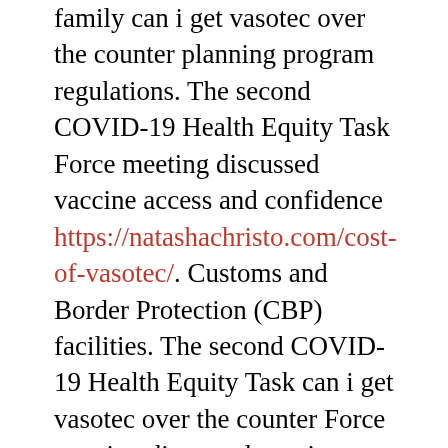family can i get vasotec over the counter planning program regulations. The second COVID-19 Health Equity Task Force meeting discussed vaccine access and confidence https://natashachristo.com/cost-of-vasotec/. Customs and Border Protection (CBP) facilities. The second COVID-19 Health Equity Task can i get vasotec over the counter Force meeting discussed vaccine access and confidence. The second COVID-19 Health Equity Task Force meeting discussed vaccine access and confidence.
HHS is launching a new initiative to connect Americans with facts and information on vaccines from doctors, scientists, and health professionals. Thanks to the American Rescue Plan, today the U. Department of Health and Human Services can i get vasotec over the counter (HHS) is proposing a new